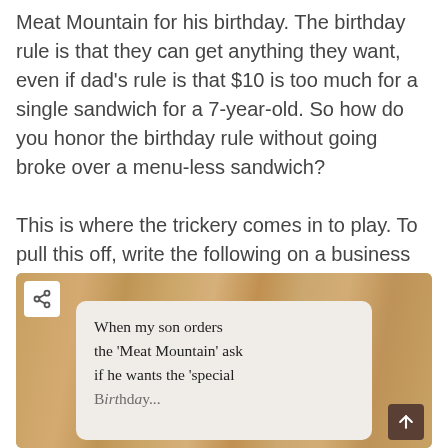Meat Mountain for his birthday. The birthday rule is that they can get anything they want, even if dad's rule is that $10 is too much for a single sandwich for a 7-year-old. So how do you honor the birthday rule without going broke over a menu-less sandwich?

This is where the trickery comes in to play. To pull this off, write the following on a business card and give it to the cashier before your son places his order:
[Figure (photo): A photo of a handwritten business card on a wooden table surface. The card reads: 'When my son orders the 'Meat Mountain' ask if he wants the 'special Birthday...' (text cut off). There is a share button in the top-left corner and an up arrow button in the bottom-right corner of the photo.]